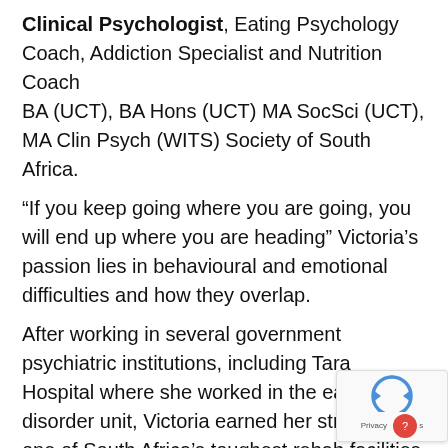Clinical Psychologist, Eating Psychology Coach, Addiction Specialist and Nutrition Coach
BA (UCT), BA Hons (UCT) MA SocSci (UCT), MA Clin Psych (WITS) Society of South Africa.
“If you keep going where you are going, you will end up where you are heading” Victoria’s passion lies in behavioural and emotional difficulties and how they overlap.
After working in several government psychiatric institutions, including Tara Hospital where she worked in the eating disorder unit, Victoria earned her stripes in one of South Africa’s toughest rehab facilities working w drug, alcohol and sugar addiction.